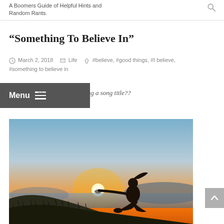A Boomers Guide of Helpful Hints and Random Rants.
“Something To Believe In”
March 2, 2018   Life   #believe, #good things, #I believe, #something to believe in
and why is everything a song title??
[Figure (photo): Silhouette of a person sitting outdoors at sunset, appearing to hold the sun in their hand, with ocean and hills in the background. The sky transitions from warm orange at the horizon to blue above.]